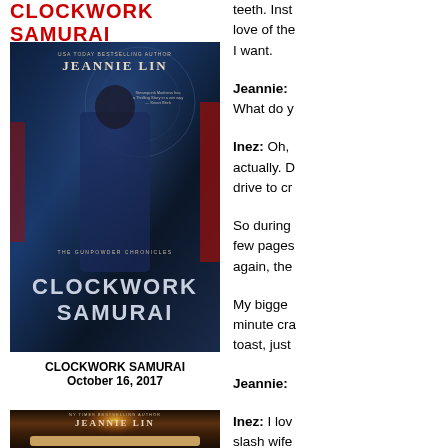CLOCKWORK SAMURAI
[Figure (photo): Book cover of Clockwork Samurai by Jeannie Lin — USA Today bestselling author. Shows a woman in dark armor holding a weapon, with steampunk/sci-fi imagery and the Gunpowder Chronicles series label.]
CLOCKWORK SAMURAI
October 16, 2017
[Figure (photo): Second book cover by Jeannie Lin (NY Times bestselling author). Dark atmospheric cover showing candlelight glow over a scroll, with warm amber and brown tones.]
teeth. Inst love of the I want.
Jeannie: What do y
Inez: Oh, actually. D drive to cr
So during few pages again, the
My bigge minute cra toast, just
Jeannie:
Inez: I lov slash wife